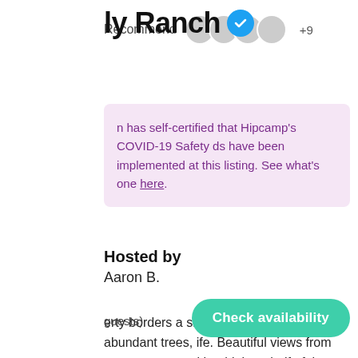ly Ranch ✓
Recommend +9
n has self-certified that Hipcamp's COVID-19 Safety ds have been implemented at this listing. See what's one here.
Hosted by
Aaron B.
erty borders a small creek and has abundant trees, ife. Beautiful views from every vantage with a high ne half of the property and a low bottom land near
guests)
Check availability